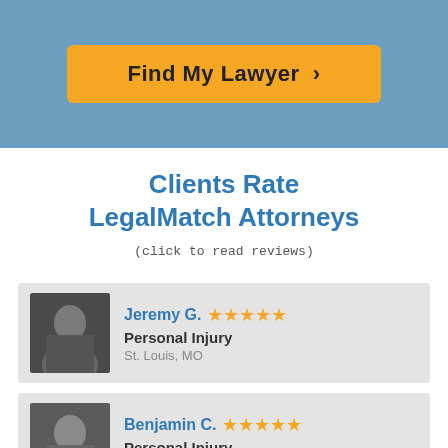[Figure (other): Blue banner with orange 'Find My Lawyer >' button]
Clients Rate
LegalMatch Attorneys
(click to read reviews)
| Attorney | Practice | Location | Rating |
| --- | --- | --- | --- |
| Jeremy G. | Personal Injury | St. Louis, MO | 5 stars |
| Benjamin C. | Personal Injury | Roseland, NJ | 5 stars |
| Louis A. | Personal Injury |  | 5 stars |